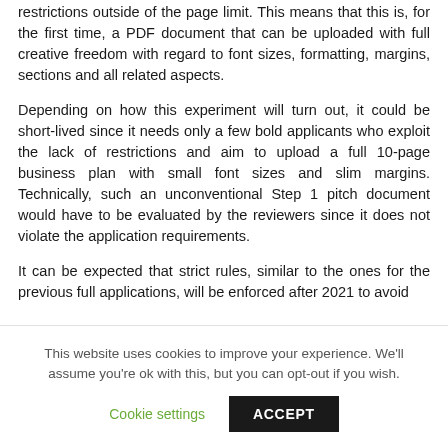restrictions outside of the page limit. This means that this is, for the first time, a PDF document that can be uploaded with full creative freedom with regard to font sizes, formatting, margins, sections and all related aspects.
Depending on how this experiment will turn out, it could be short-lived since it needs only a few bold applicants who exploit the lack of restrictions and aim to upload a full 10-page business plan with small font sizes and slim margins. Technically, such an unconventional Step 1 pitch document would have to be evaluated by the reviewers since it does not violate the application requirements.
It can be expected that strict rules, similar to the ones for the previous full applications, will be enforced after 2021 to avoid
This website uses cookies to improve your experience. We'll assume you're ok with this, but you can opt-out if you wish.
Cookie settings
ACCEPT